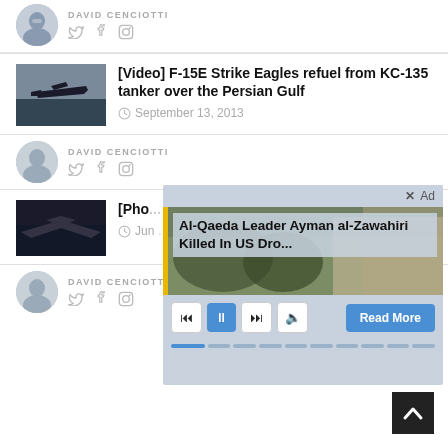[Figure (photo): Author avatar of David Cenciotti (top, partially visible)]
DAVID CENCIOTTI
[Figure (photo): Social media icons: Twitter, Facebook, Instagram]
[Figure (photo): Thumbnail of F-15E Strike Eagles jet aircraft]
[Video] F-15E Strike Eagles refuel from KC-135 tanker over the Persian Gulf
September 13, 2013
[Figure (photo): Author avatar of David Cenciotti]
DAVID CENCIOTTI
[Figure (photo): Social media icons: Twitter, Facebook, Instagram]
[Figure (photo): Thumbnail of B-2 stealth aircraft (partially visible)]
[Pho... bird ...
Jun...
[Figure (photo): Author avatar of David Cenciotti (bottom)]
DAVID CENCIOTTI
[Figure (photo): Social media icons: Twitter, Facebook, Instagram]
[Figure (other): Ad overlay: Al-Qaeda Leader Ayman al-Zawahiri Killed In US Dro... with media controls and Read More button]